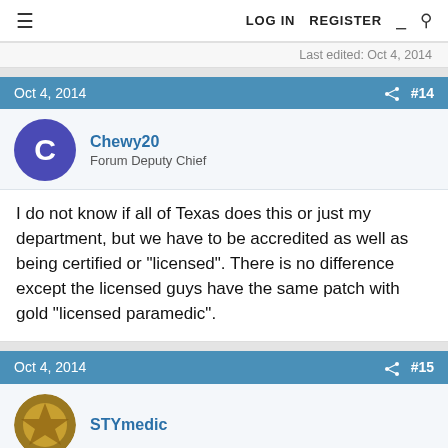LOG IN   REGISTER
Last edited: Oct 4, 2014
Oct 4, 2014  #14
Chewy20
Forum Deputy Chief
I do not know if all of Texas does this or just my department, but we have to be accredited as well as being certified or "licensed". There is no difference except the licensed guys have the same patch with gold "licensed paramedic".
Oct 4, 2014  #15
STYmedic